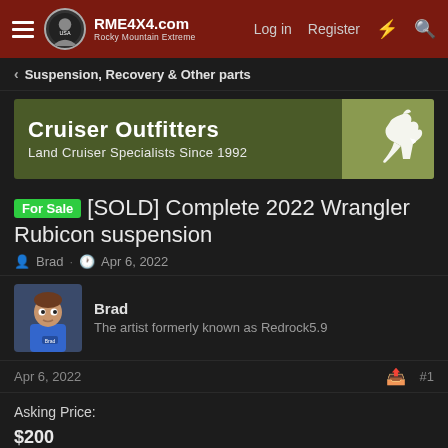RME4X4.com Rocky Mountain Extreme — Log in  Register
Suspension, Recovery & Other parts
[Figure (logo): Cruiser Outfitters banner ad: olive green background with white kangaroo silhouette, text: Cruiser Outfitters — Land Cruiser Specialists Since 1992]
[SOLD] Complete 2022 Wrangler Rubicon suspension
Brad · Apr 6, 2022
Brad
The artist formerly known as Redrock5.9
Apr 6, 2022  #1
Asking Price:
$200
Condition: